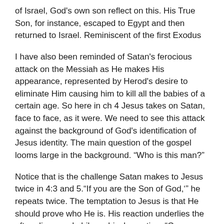of Israel, God's own son reflect on this. His True Son, for instance, escaped to Egypt and then returned to Israel. Reminiscent of the first Exodus
I have also been reminded of Satan's ferocious attack on the Messiah as He makes His appearance, represented by Herod's desire to eliminate Him causing him to kill all the babies of a certain age. So here in ch 4 Jesus takes on Satan, face to face, as it were. We need to see this attack against the background of God's identification of Jesus identity. The main question of the gospel looms large in the background. “Who is this man?”
Notice that is the challenge Satan makes to Jesus twice in 4:3 and 5.“If you are the Son of God,‘” he repeats twice. The temptation to Jesus is that He should prove who He is. His reaction underlies the often discussed philosophical question, “Can you prove there is a God?” There is often